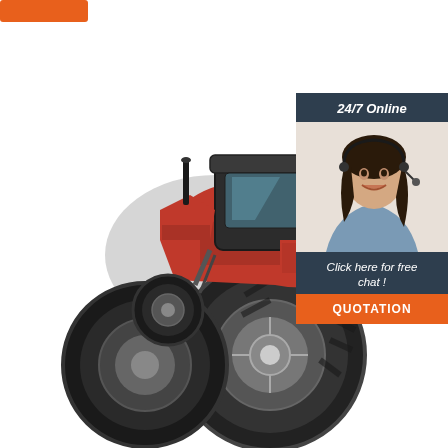[Figure (illustration): Orange rectangular button/logo in top-left corner]
[Figure (photo): Large red agricultural tractor with dual rear wheels, viewed from the rear-left angle, on white background]
24/7 Online
[Figure (photo): Smiling woman with dark hair wearing a headset/microphone, in a blue shirt, customer service agent]
Click here for free chat !
QUOTATION